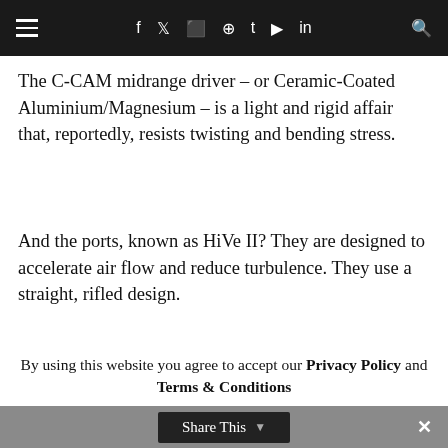≡  f  𝕏  ☷  ⊕  t  ▶  in  🔍
The C-CAM midrange driver – or Ceramic-Coated Aluminium/Magnesium – is a light and rigid affair that, reportedly, resists twisting and bending stress.
And the ports, known as HiVe II? They are designed to accelerate air flow and reduce turbulence. They use a straight, rifled design.
[Figure (photo): Cross-section cutaway of a speaker driver showing orange and dark grey components]
By using this website you agree to accept our Privacy Policy and Terms & Conditions
Share This